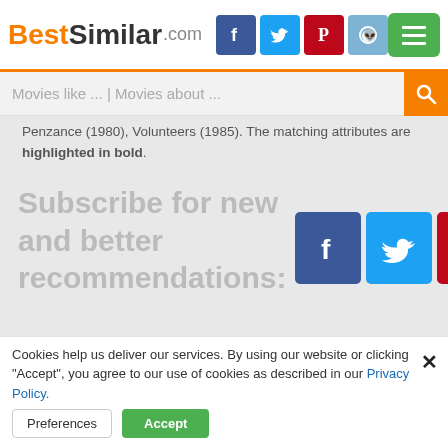BestSimilar.com
Movies like ... | Movies about ...
Penzance (1980), Volunteers (1985). The matching attributes are highlighted in bold.
Subscribe for new and better recommendations:
Let's Make Love (1987)
5.0  735
[Figure (screenshot): Movie thumbnail showing dark background with text LEPA BRENA U FILMU]
Cookies help us deliver our services. By using our website or clicking "Accept", you agree to our use of cookies as described in our Privacy Policy.